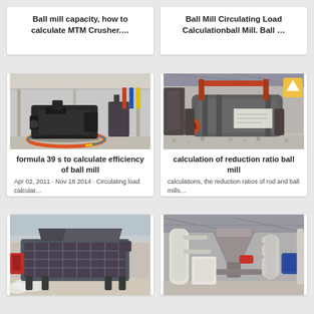Ball mill capacity, how to calculate MTM Crusher….
Ball Mill Circulating Load Calculationball Mill. Ball …
[Figure (photo): Industrial ball mill machine on factory floor with colorful circular base]
formula 39 s to calculate efficiency of ball mill
Apr 02, 2011 · Nov 18 2014 · Circulating load calculat…
[Figure (photo): Industrial grinding equipment inside a factory]
calculation of reduction ratio ball mill
calculations, the reduction ratios of rod and ball mills…
[Figure (photo): Large industrial vibrating screen or crusher machine outdoors]
[Figure (photo): Industrial milling plant with silos and piping inside a large warehouse]